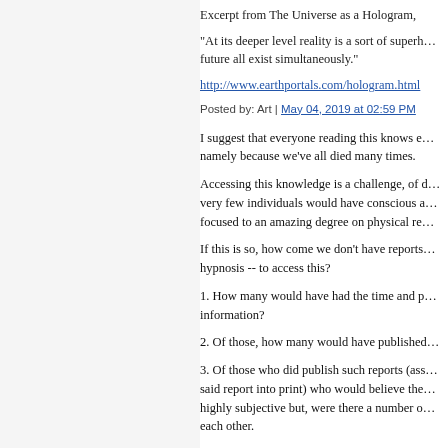Excerpt from The Universe as a Hologram,
"At its deeper level reality is a sort of superh… future all exist simultaneously."
http://www.earthportals.com/hologram.html
Posted by: Art | May 04, 2019 at 02:59 PM
I suggest that everyone reading this knows e… namely because we've all died many times.
Accessing this knowledge is a challenge, of d… very few individuals would have conscious a… focused to an amazing degree on physical re…
If this is so, how come we don't have reports… hypnosis -- to access this?
1. How many would have had the time and p… information?
2. Of those, how many would have published…
3. Of those who did publish such reports (ass… said report into print) who would believe the… highly subjective but, were there a number o… each other.